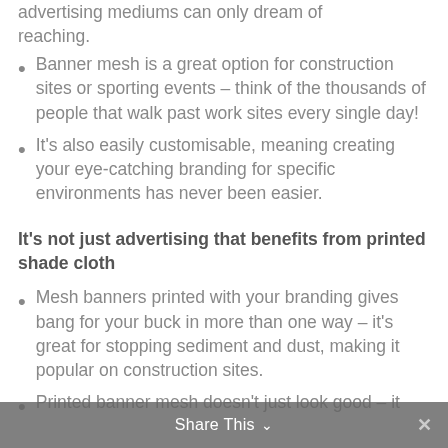advertising mediums can only dream of reaching.
Banner mesh is a great option for construction sites or sporting events – think of the thousands of people that walk past work sites every single day!
It's also easily customisable, meaning creating your eye-catching branding for specific environments has never been easier.
It's not just advertising that benefits from printed shade cloth
Mesh banners printed with your branding gives bang for your buck in more than one way – it's great for stopping sediment and dust, making it popular on construction sites.
Printed banner mesh doesn't just look good – it
Share This